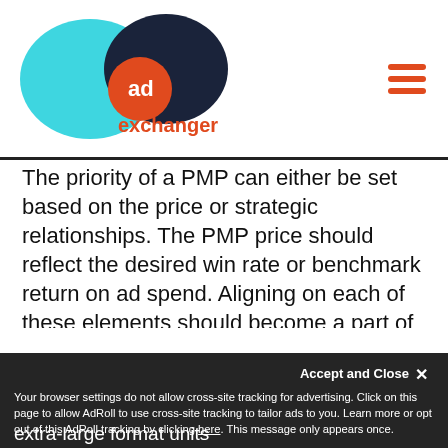[Figure (logo): AdExchanger logo with teal and dark blue overlapping circles, orange 'ad' badge, and orange 'exchanger' text]
The priority of a PMP can either be set based on the price or strategic relationships. The PMP price should reflect the desired win rate or benchmark return on ad spend. Aligning on each of these elements should become a part of every PMP conversation.
We also need to focus on using PMPs for truly unique opportunities.
Private deals provide a way to transact units that aren't typically sold on the open market or even...extra-large format units
Your browser settings do not allow cross-site tracking for advertising. Click on this page to allow AdRoll to use cross-site tracking to tailor ads to you. Learn more or opt out of this AdRoll tracking by clicking here. This message only appears once.